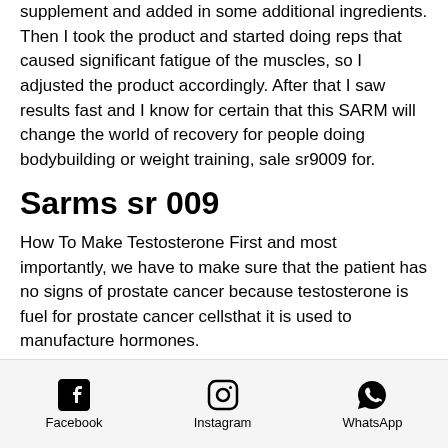supplement and added in some additional ingredients. Then I took the product and started doing reps that caused significant fatigue of the muscles, so I adjusted the product accordingly. After that I saw results fast and I know for certain that this SARM will change the world of recovery for people doing bodybuilding or weight training, sale sr9009 for.
Sarms sr 009
How To Make Testosterone First and most importantly, we have to make sure that the patient has no signs of prostate cancer because testosterone is fuel for prostate cancer cellsthat it is used to manufacture hormones.
How to test for prostate cancer (and how to
Facebook  Instagram  WhatsApp